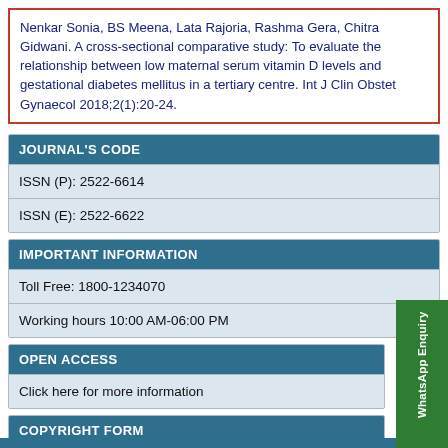Nenkar Sonia, BS Meena, Lata Rajoria, Rashma Gera, Chitra Gidwani. A cross-sectional comparative study: To evaluate the relationship between low maternal serum vitamin D levels and gestational diabetes mellitus in a tertiary centre. Int J Clin Obstet Gynaecol 2018;2(1):20-24.
JOURNAL'S CODE
ISSN (P): 2522-6614
ISSN (E): 2522-6622
IMPORTANT INFORMATION
Toll Free: 1800-1234070
Working hours 10:00 AM-06:00 PM
OPEN ACCESS
Click here for more information
COPYRIGHT FORM
Download Copyright Form